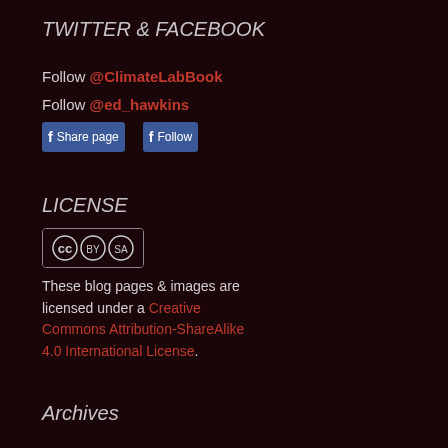TWITTER & FACEBOOK
Follow @ClimateLabBook
Follow @ed_hawkins
Share page  Follow
LICENSE
[Figure (other): Creative Commons BY-SA license badge]
These blog pages & images are licensed under a Creative Commons Attribution-ShareAlike 4.0 International License.
Archives